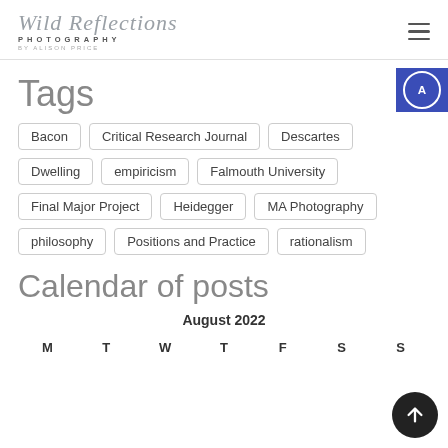Wild Reflections Photography by Alison Price
Tags
Bacon
Critical Research Journal
Descartes
Dwelling
empiricism
Falmouth University
Final Major Project
Heidegger
MA Photography
philosophy
Positions and Practice
rationalism
Calendar of posts
| M | T | W | T | F | S | S |
| --- | --- | --- | --- | --- | --- | --- |